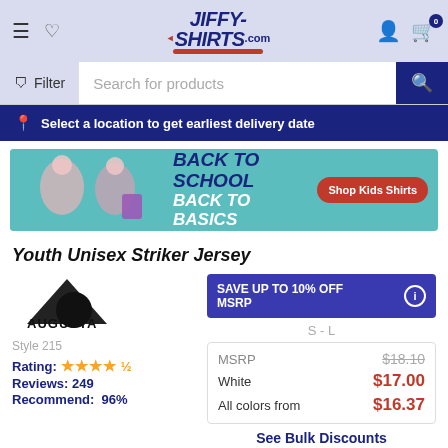JiffyShirts.com header with navigation icons, hamburger menu, heart, user, and cart
Filter | Search for products
Select a location to get earliest delivery date
[Figure (infographic): Back to School Back to Basics promotional banner with two girls and a Shop Kids Shirts button]
Youth Unisex Striker Jersey
[Figure (logo): Augusta Sportswear logo]
Style 215
Rating: 4.5 stars
Reviews: 249
Recommend: 96%
SAVE UP TO 10% OFF MSRP
S - L
|  |  |
| --- | --- |
| MSRP | $18.10 |
| White | $17.00 |
| All colors from | $16.37 |
See Bulk Discounts